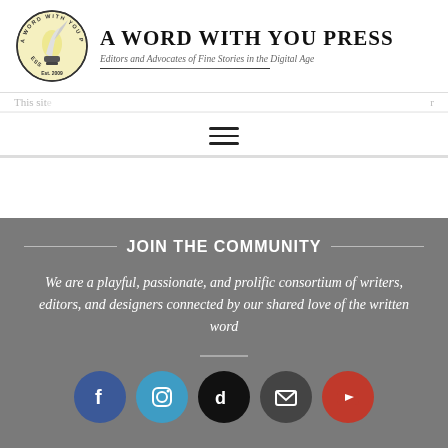[Figure (logo): A Word With You Press circular logo with quill pen, yellow background, Est. 2009]
A Word With You Press
Editors and Advocates of Fine Stories in the Digital Age
This site...
[Figure (other): Hamburger menu icon (three horizontal lines)]
JOIN THE COMMUNITY
We are a playful, passionate, and prolific consortium of writers, editors, and designers connected by our shared love of the written word
[Figure (other): Social media icons row: Facebook, Instagram, TikTok, Email, YouTube]